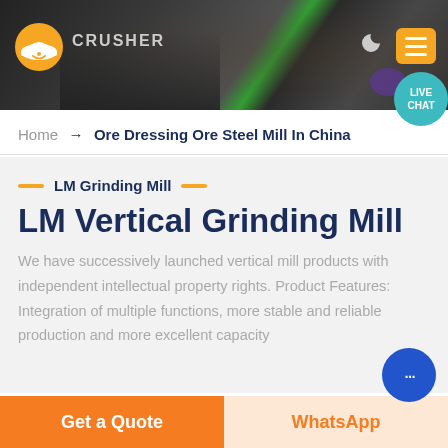[Figure (screenshot): Dark rocky/industrial background header with orange logo icon (hard hat style), brand name CRUSHER, moon icon and orange menu button, plus teal LIVE CHAT bubble in top right]
Home → Ore Dressing Ore Steel Mill In China
LM Grinding Mill
LM Vertical Grinding Mill
We have successively launched vertical mill products with independent intellectual property rights. Product Features: Integration of multiple functions, more stable and reliable production and more excellent capacity
Get a Quote
WhatsApp